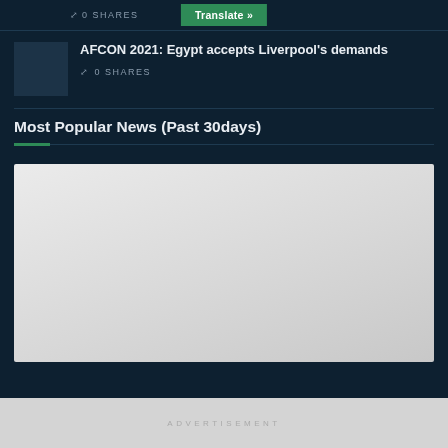0 SHARES
Translate »
AFCON 2021: Egypt accepts Liverpool's demands
0 SHARES
Most Popular News (Past 30days)
[Figure (photo): Large placeholder/loading image area below Most Popular News section]
ADVERTISEMENT